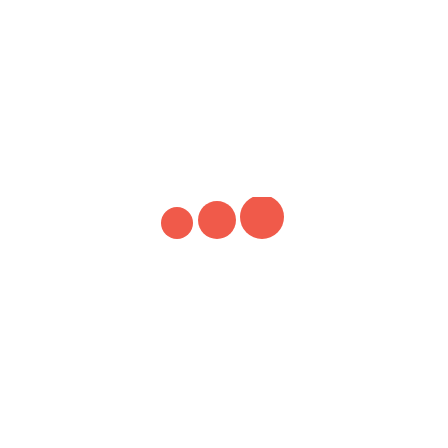[Figure (illustration): Three coral/salmon-colored circles of slightly increasing size arranged horizontally left to right, centered on the page. Resembles a loading indicator or ellipsis dots.]